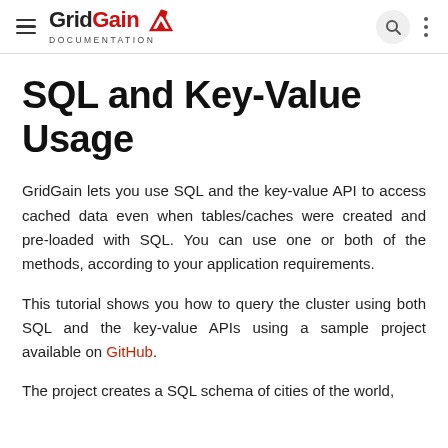GridGain DOCUMENTATION
SQL and Key-Value Usage
GridGain lets you use SQL and the key-value API to access cached data even when tables/caches were created and pre-loaded with SQL. You can use one or both of the methods, according to your application requirements.
This tutorial shows you how to query the cluster using both SQL and the key-value APIs using a sample project available on GitHub.
The project creates a SQL schema of cities of the world,